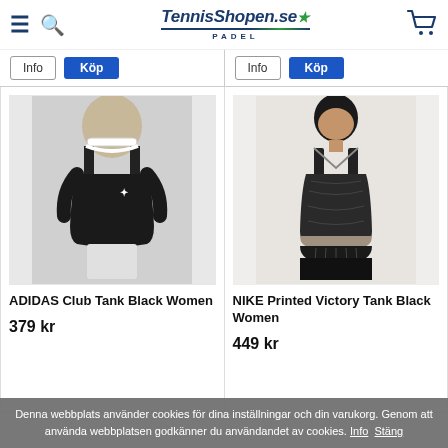TennisShopen.se PADEL
[Figure (photo): Adidas Club Tank Black Women product photo - woman wearing black sleeveless tank top with white collar trim and adidas logo]
ADIDAS Club Tank Black Women
379 kr
[Figure (photo): Nike Printed Victory Tank Black Women product photo - woman wearing black printed sleeveless top with V-neck with black pleated skirt]
NIKE Printed Victory Tank Black Women
449 kr
Denna webbplats använder cookies för dina inställningar och din varukorg. Genom att använda webbplatsen godkänner du användandet av cookies. Info Stäng